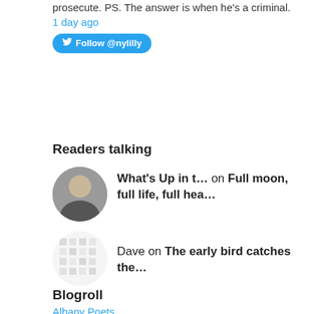@tavern_Spiter· Persecuter I think you meant prosecute. PS. The answer is when he's a criminal. 1 day ago
[Figure (other): Twitter Follow @nylilly button in blue rounded rectangle]
Readers talking
What's Up in t... on Full moon, full life, full hea...
Dave on The early bird catches the...
What's Up in t... on Getting myself out of a (straw...
Blogroll
Albany Poets